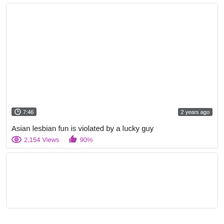[Figure (screenshot): Video thumbnail placeholder (white/blank) for first video card]
7:46
2 years ago
Asian lesbian fun is violated by a lucky guy
2,154 Views  90%
[Figure (screenshot): Video thumbnail placeholder (white/blank) for second video card]